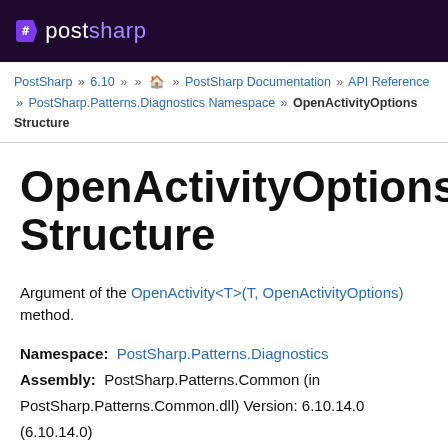postsharp
PostSharp » 6.10 » » » PostSharp Documentation » API Reference » PostSharp.Patterns.Diagnostics Namespace » OpenActivityOptions Structure
OpenActivityOptions Structure
Argument of the OpenActivity<T>(T, OpenActivityOptions) method.
Namespace: PostSharp.Patterns.Diagnostics
Assembly: PostSharp.Patterns.Common (in PostSharp.Patterns.Common.dll) Version: 6.10.14.0 (6.10.14.0)